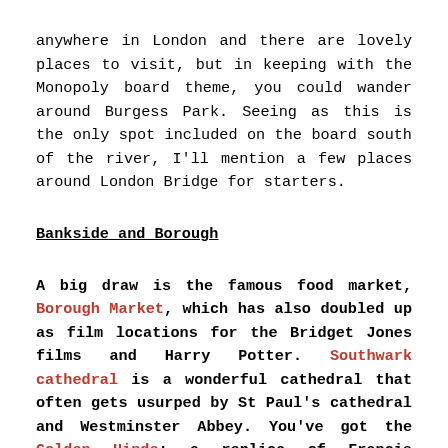anywhere in London and there are lovely places to visit, but in keeping with the Monopoly board theme, you could wander around Burgess Park. Seeing as this is the only spot included on the board south of the river, I'll mention a few places around London Bridge for starters.
Bankside and Borough
A big draw is the famous food market, Borough Market, which has also doubled up as film locations for the Bridget Jones films and Harry Potter. Southwark cathedral is a wonderful cathedral that often gets usurped by St Paul's cathedral and Westminster Abbey. You've got the Golden Hinde; a replica of Francis Drake's ship that circumnavigated the world in 1577, Shakespeare's Globe Theatre and the Tate Modern.